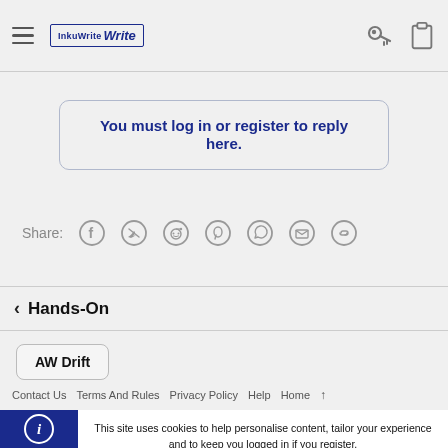InkuWrite navigation bar with hamburger menu, logo, key icon, clipboard icon
You must log in or register to reply here.
Share:
< Hands-On
AW Drift
Contact Us  Terms And Rules  Privacy Policy  Help  Home  ↑
This site uses cookies to help personalise content, tailor your experience and to keep you logged in if you register. By continuing to use this site, you are consenting to our use of cookies.
ACCEPT  LEARN MORE...